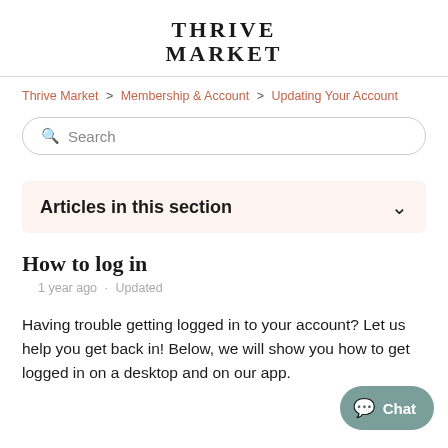THRIVE MARKET
Thrive Market > Membership & Account > Updating Your Account
Search
Articles in this section
How to log in
1 year ago · Updated
Having trouble getting logged in to your account? Let us help you get back in! Below, we will show you how to get logged in on a desktop and on our app.